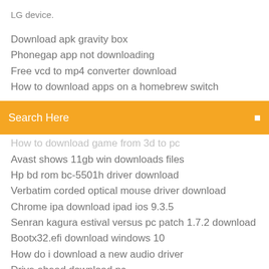LG device.
Download apk gravity box
Phonegap app not downloading
Free vcd to mp4 converter download
How to download apps on a homebrew switch
[Figure (screenshot): Orange search bar with text 'Search Here' and a search icon on the right]
How to download game from 3d to pc
Avast shows 11gb win downloads files
Hp bd rom bc-5501h driver download
Verbatim corded optical mouse driver download
Chrome ipa download ipad ios 9.3.5
Senran kagura estival versus pc patch 1.7.2 download
Bootx32.efi download windows 10
How do i download a new audio driver
Drive ahead download pc
Itunes pc download old version
Carly for bmw pro 28.26 android download